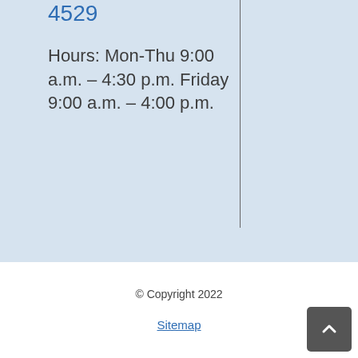4529
Hours: Mon-Thu 9:00 a.m. – 4:30 p.m. Friday 9:00 a.m. – 4:00 p.m.
[Figure (screenshot): Contrast toggle button with half-filled circle icon]
[Figure (screenshot): Text size toggle button with TT icon]
© Copyright 2022
Sitemap